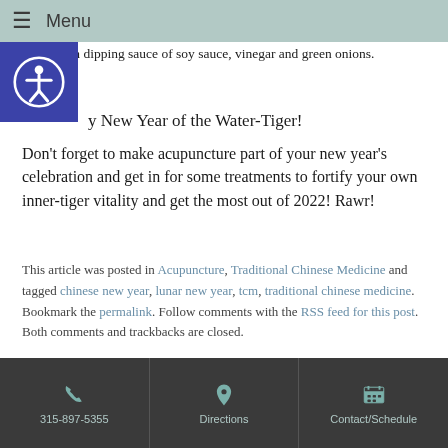Menu
Serve with dipping sauce of soy sauce, vinegar and green onions.
y New Year of the Water-Tiger!
Don't forget to make acupuncture part of your new year's celebration and get in for some treatments to fortify your own inner-tiger vitality and get the most out of 2022! Rawr!
This article was posted in Acupuncture, Traditional Chinese Medicine and tagged chinese new year, lunar new year, tcm, traditional chinese medicine. Bookmark the permalink. Follow comments with the RSS feed for this post. Both comments and trackbacks are closed.
315-897-5355 | Directions | Contact/Schedule